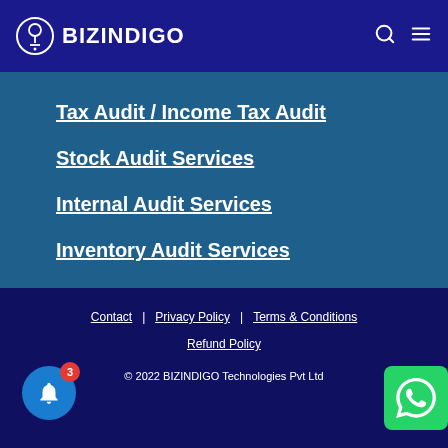BIZINDIGO
Tax Audit / Income Tax Audit
Stock Audit Services
Internal Audit Services
Inventory Audit Services
IT & Systems Audit
Management Audit
Contact   Privacy Policy   Terms & Conditions   Refund Policy   © 2022 BIZINDIGO Technologies Pvt Ltd